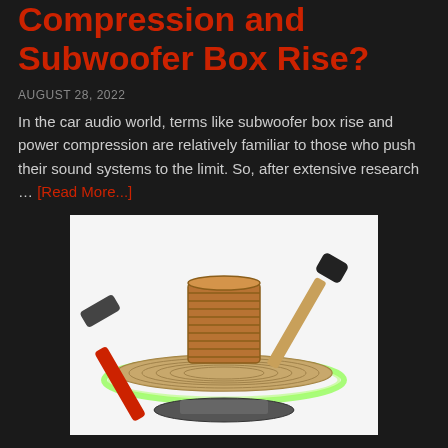Compression and Subwoofer Box Rise?
AUGUST 28, 2022
In the car audio world, terms like subwoofer box rise and power compression are relatively familiar to those who push their sound systems to the limit. So, after extensive research … [Read More...]
[Figure (photo): A subwoofer speaker cone with voice coil visible, flanked by a red-handled claw hammer on the left and a rubber mallet on the right, on a white background with green glow effect]
Do You Need to Break Car Audio Speakers In?